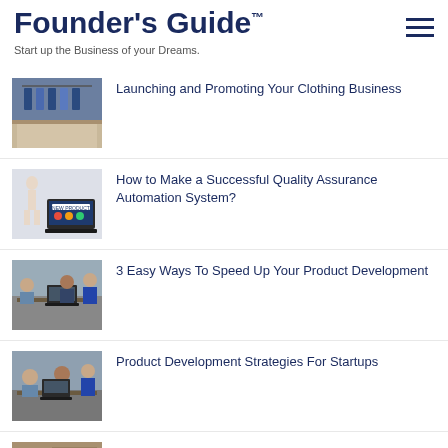Founder's Guide™ — Start up the Business of your Dreams.
Launching and Promoting Your Clothing Business
How to Make a Successful Quality Assurance Automation System?
3 Easy Ways To Speed Up Your Product Development
Product Development Strategies For Startups
9 Useful Promotional Printing Ideas to Make Your Business